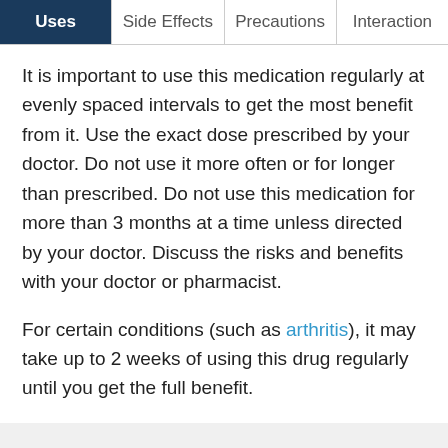Uses | Side Effects | Precautions | Interactions
It is important to use this medication regularly at evenly spaced intervals to get the most benefit from it. Use the exact dose prescribed by your doctor. Do not use it more often or for longer than prescribed. Do not use this medication for more than 3 months at a time unless directed by your doctor. Discuss the risks and benefits with your doctor or pharmacist.
For certain conditions (such as arthritis), it may take up to 2 weeks of using this drug regularly until you get the full benefit.